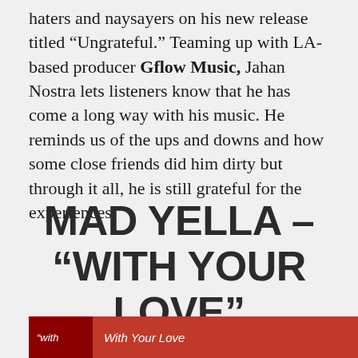haters and naysayers on his new release titled “Ungrateful.” Teaming up with LA-based producer Gflow Music, Jahan Nostra lets listeners know that he has come a long way with his music. He reminds us of the ups and downs and how some close friends did him dirty but through it all, he is still grateful for the experiences.
MAD YELLA – “WITH YOUR LOVE”
[Figure (screenshot): Music player widget with dark background showing 'with' text on left and 'With Your Love' title on right with a red/dark theme]